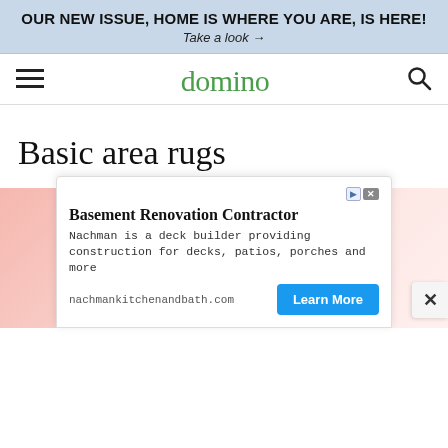OUR NEW ISSUE, HOME IS WHERE YOU ARE, IS HERE! Take a look →
domino
Basic area rugs
[Figure (photo): Pink/rose gradient image area, partially visible, with a close (×) button on the right side]
Basement Renovation Contractor
Nachman is a deck builder providing construction for decks, patios, porches and more
nachmankitchenandbath.com
Learn More